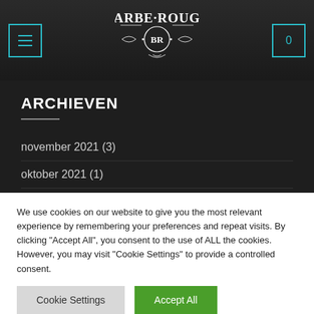[Figure (logo): Barbe Rouge decorative logo with ornamental flourishes in white on dark background]
ARCHIEVEN
november 2021 (3)
oktober 2021 (1)
We use cookies on our website to give you the most relevant experience by remembering your preferences and repeat visits. By clicking "Accept All", you consent to the use of ALL the cookies. However, you may visit "Cookie Settings" to provide a controlled consent.